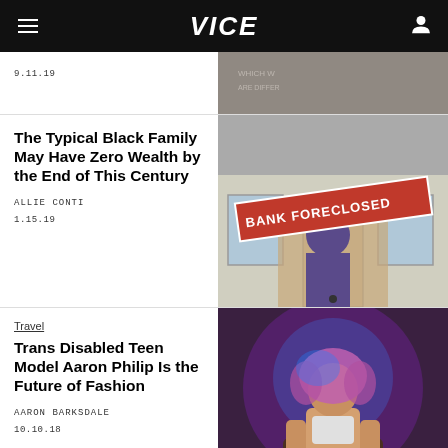VICE
9.11.19
The Typical Black Family May Have Zero Wealth by the End of This Century
ALLIE CONTI
1.15.19
[Figure (photo): Bank foreclosed sign on a house with a person visible]
Travel
Trans Disabled Teen Model Aaron Philip Is the Future of Fashion
AARON BARKSDALE
10.10.18
[Figure (photo): Teen model Aaron Philip in a wheelchair with blue dramatic lighting]
A Clerk Called the Cops on a
[Figure (photo): Person with curly hair, partial photo]